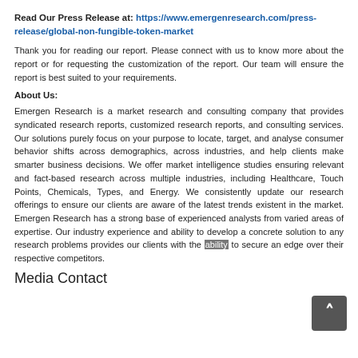Read Our Press Release at: https://www.emergenresearch.com/press-release/global-non-fungible-token-market
Thank you for reading our report. Please connect with us to know more about the report or for requesting the customization of the report. Our team will ensure the report is best suited to your requirements.
About Us:
Emergen Research is a market research and consulting company that provides syndicated research reports, customized research reports, and consulting services. Our solutions purely focus on your purpose to locate, target, and analyse consumer behavior shifts across demographics, across industries, and help clients make smarter business decisions. We offer market intelligence studies ensuring relevant and fact-based research across multiple industries, including Healthcare, Touch Points, Chemicals, Types, and Energy. We consistently update our research offerings to ensure our clients are aware of the latest trends existent in the market. Emergen Research has a strong base of experienced analysts from varied areas of expertise. Our industry experience and ability to develop a concrete solution to any research problems provides our clients with the ability to secure an edge over their respective competitors.
Media Contact